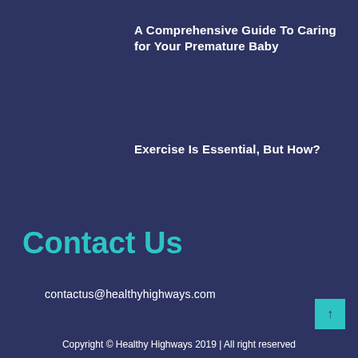A Comprehensive Guide To Caring for Your Premature Baby
Exercise Is Essential, But How?
Contact Us
contactus@healthyhighways.com
Copyright © Healthy Highways 2019 | All right reserved